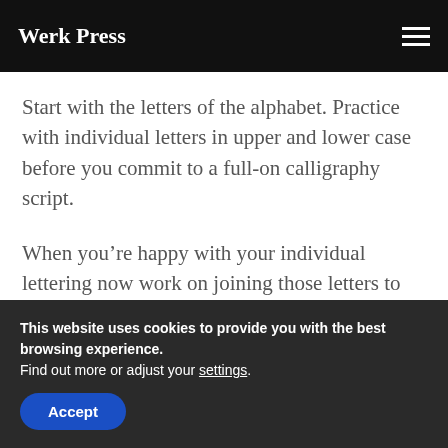Werk Press
Start with the letters of the alphabet. Practice with individual letters in upper and lower case before you commit to a full-on calligraphy script.
When you're happy with your individual lettering now work on joining those letters to
This website uses cookies to provide you with the best browsing experience.
Find out more or adjust your settings.
Accept